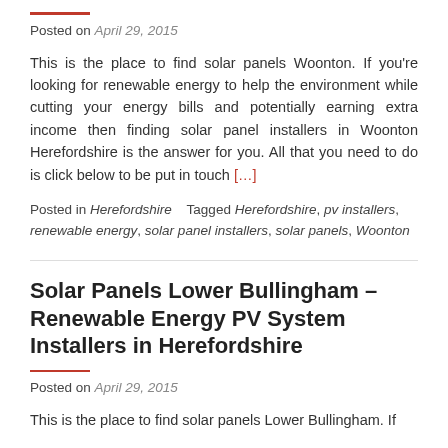Posted on April 29, 2015
This is the place to find solar panels Woonton. If you're looking for renewable energy to help the environment while cutting your energy bills and potentially earning extra income then finding solar panel installers in Woonton Herefordshire is the answer for you. All that you need to do is click below to be put in touch [...]
Posted in Herefordshire    Tagged Herefordshire, pv installers, renewable energy, solar panel installers, solar panels, Woonton
Solar Panels Lower Bullingham – Renewable Energy PV System Installers in Herefordshire
Posted on April 29, 2015
This is the place to find solar panels Lower Bullingham. If